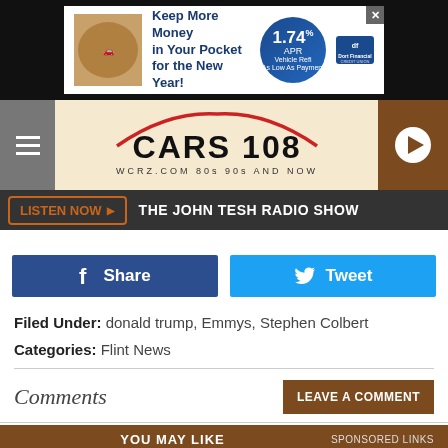[Figure (screenshot): Dort Financial Credit Union banner ad: Keep More Money in Your Pocket for the New Year! 1.74% APR Vehicle Refi]
[Figure (logo): Cars 108 WCRZ.COM radio station logo with red car silhouette, tagline: 80s 90s AND NOW]
LISTEN NOW ▶  THE JOHN TESH RADIO SHOW
[Figure (infographic): Facebook Share button (dark blue) and Twitter Tweet button (light blue)]
Filed Under: donald trump, Emmys, Stephen Colbert
Categories: Flint News
Comments
LEAVE A COMMENT
YOU MAY LIKE   SPONSORED LINKS